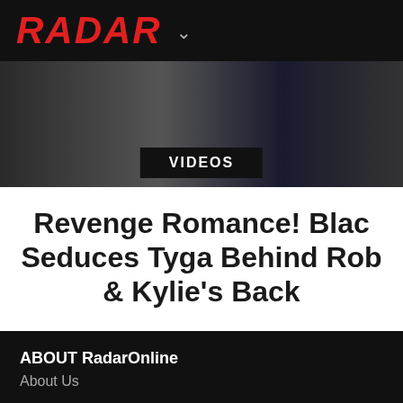RADAR
[Figure (photo): Photo of people, partially visible, dark clothing including a Supreme branded item]
VIDEOS
Revenge Romance! Blac Seduces Tyga Behind Rob & Kylie's Back
1
2
3
4
5
Next Page »
ABOUT RadarOnline
About Us